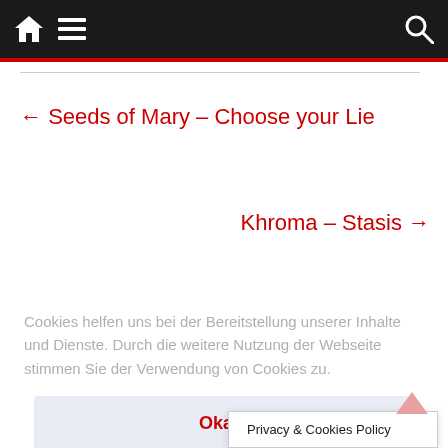Navigation bar with home, menu, and search icons
← Seeds of Mary – Choose your Lie
Khroma – Stasis →
Cookies helfen uns bei der Bereitstellung unserer Inhalte und Dienste. Durch die weitere Nutzung der Webseite stimmen Sie der Verwendung von Cookies zu.
Okay!
Privacy & Cookies Policy